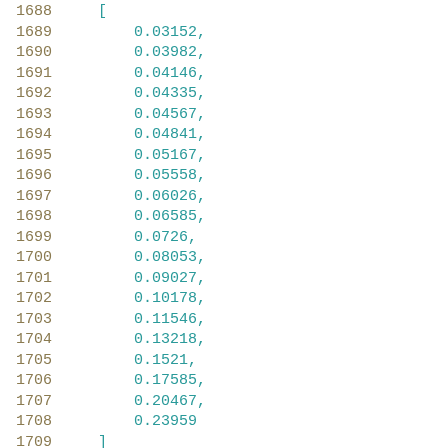1688    [
1689        0.03152,
1690        0.03982,
1691        0.04146,
1692        0.04335,
1693        0.04567,
1694        0.04841,
1695        0.05167,
1696        0.05558,
1697        0.06026,
1698        0.06585,
1699        0.0726,
1700        0.08053,
1701        0.09027,
1702        0.10178,
1703        0.11546,
1704        0.13218,
1705        0.1521,
1706        0.17585,
1707        0.20467,
1708        0.23959
1709    ]